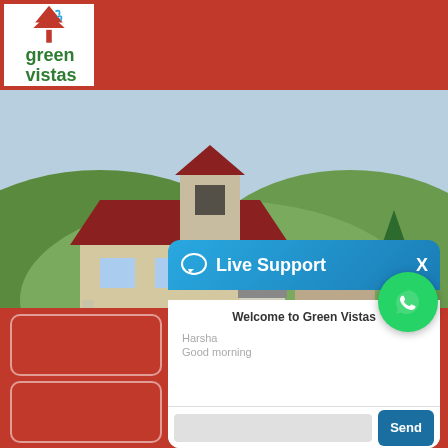[Figure (logo): Green Vistas logo with tree icon in red and white]
[Figure (photo): Photograph of a house/villa with red tiled roof surrounded by green hills]
[Figure (screenshot): WhatsApp green circle button icon]
[Figure (screenshot): Live Support chat widget with blue header, welcome message, user name Harsha, message Good morning, text input field and Send button]
Welcome to Green Vistas
Harsha
Good morning